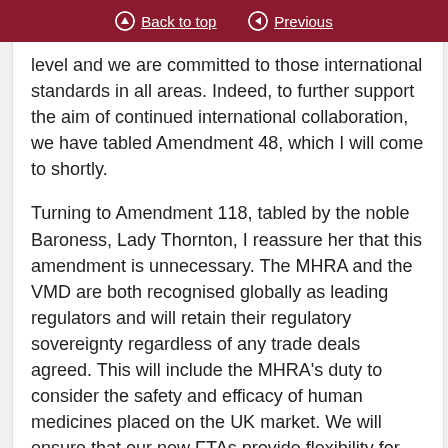Back to top | Previous
level and we are committed to those international standards in all areas. Indeed, to further support the aim of continued international collaboration, we have tabled Amendment 48, which I will come to shortly.
Turning to Amendment 118, tabled by the noble Baroness, Lady Thornton, I reassure her that this amendment is unnecessary. The MHRA and the VMD are both recognised globally as leading regulators and will retain their regulatory sovereignty regardless of any trade deals agreed. This will include the MHRA's duty to consider the safety and efficacy of human medicines placed on the UK market. We will ensure that our new FTAs provide flexibility for the Government to protect legitimate